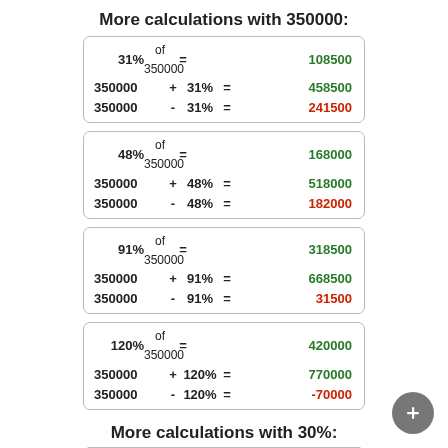More calculations with 350000:
| 31% | of 350000 | = | 108500 |
| 350000 + | 31% | = | 458500 |
| 350000 - | 31% | = | 241500 |
| 48% | of 350000 | = | 168000 |
| 350000 + | 48% | = | 518000 |
| 350000 - | 48% | = | 182000 |
| 91% | of 350000 | = | 318500 |
| 350000 + | 91% | = | 668500 |
| 350000 - | 91% | = | 31500 |
| 120% | of 350000 | = | 420000 |
| 350000 + | 120% | = | 770000 |
| 350000 - | 120% | = | -70000 |
More calculations with 30%:
| 30% | of | 91 | = | 27.3 |
| 91 | + | 30% | = | 118.3 |
| 91 | - | 30% | = | 63.7 |